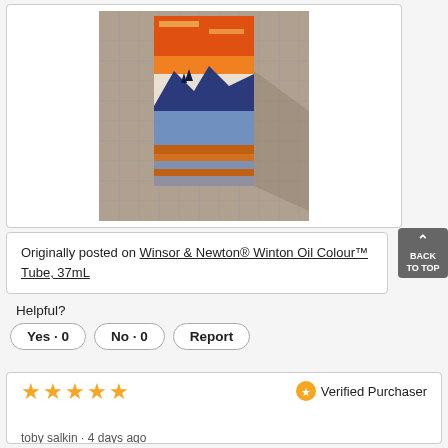[Figure (photo): A landscape painting on canvas showing a sunset scene with mountains, pine trees, and water reflections in orange and blue tones, placed on a patio with brick tiles.]
Originally posted on Winsor & Newton® Winton Oil Colour™ Tube, 37mL
Helpful?
Yes · 0
No · 0
Report
★★★★★
Verified Purchaser
toby salkin · 4 days ago
Whit Oil Paint